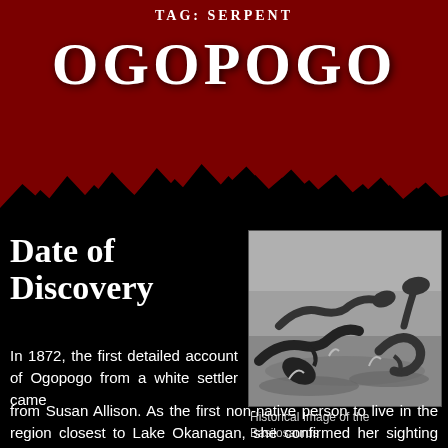TAG: SERPENT
OGOPOGO
Date of Discovery
[Figure (illustration): Historical black and white illustration of sea serpent creatures resembling Basilosaurus swimming in water]
Historical Image of the Basilosaurus
In 1872, the first detailed account of Ogopogo from a white settler came from Susan Allison. As the first non-native person to live in the region closest to Lake Okanagan, she confirmed her sighting with the